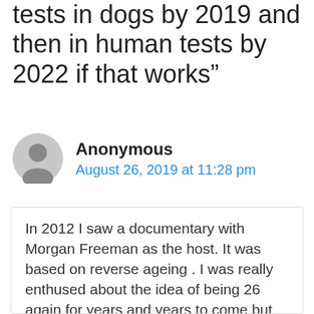tests in dogs by 2019 and then in human tests by 2022 if that works”
Anonymous
August 26, 2019 at 11:28 pm
In 2012 I saw a documentary with Morgan Freeman as the host. It was based on reverse ageing . I was really enthused about the idea of being 26 again for years and years to come but now it’s 2019 and I’m getting old. This sucks. I am still interested in the idea and have even done research on the subject learning about telomeres